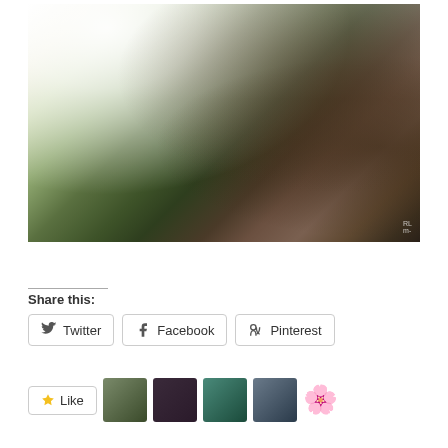[Figure (photo): Forest scene with tall redwood/cedar trees and bright sunlight glare coming from upper left, lush green ferns and undergrowth below, with a small watermark in bottom right corner]
Share this:
Twitter  Facebook  Pinterest
Like